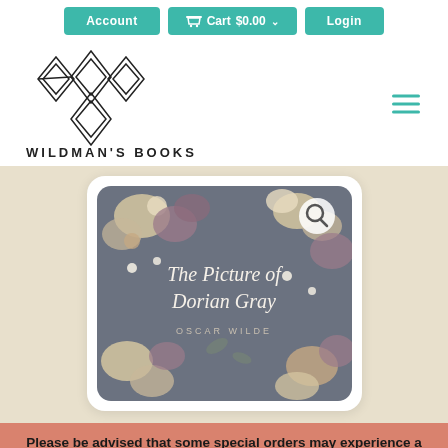Account  Cart $0.00  Login
[Figure (logo): Wildman's Books logo with geometric diamond/arrow pattern and stylized W, text reads WILDMAN'S BOOKS]
[Figure (screenshot): Book cover for 'The Picture of Dorian Gray' by Oscar Wilde, dark gray background with floral pattern (white and pink flowers), white serif title text, magnifying glass search icon in top right corner]
Please be advised that some special orders may experience a wait time of more than 16 weeks